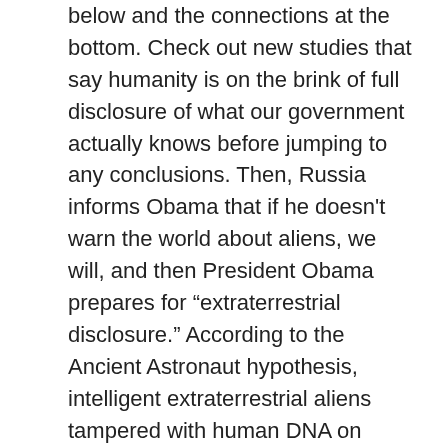below and the connections at the bottom. Check out new studies that say humanity is on the brink of full disclosure of what our government actually knows before jumping to any conclusions. Then, Russia informs Obama that if he doesn't warn the world about aliens, we will, and then President Obama prepares for "extraterrestrial disclosure." According to the Ancient Astronaut hypothesis, intelligent extraterrestrial aliens tampered with human DNA on Earth in the far past, before the dawn of civilizations, to establish humanity as we know it. Ancient mankind was scientifically engineered in the past, according to various hypotheses that have become highly conceivable in recent years. Civilization as we know it today does not survive without this genetic modification, which explains the sudden increase in human intelligence and accelerated growth. This is the